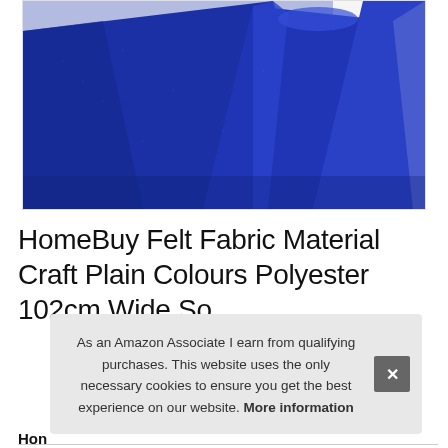[Figure (photo): Close-up photo of rolled blue felt fabric material showing texture and folds against a white background]
HomeBuy Felt Fabric Material Craft Plain Colours Polyester 102cm Wide So
As an Amazon Associate I earn from qualifying purchases. This website uses the only necessary cookies to ensure you get the best experience on our website. More information
Hon